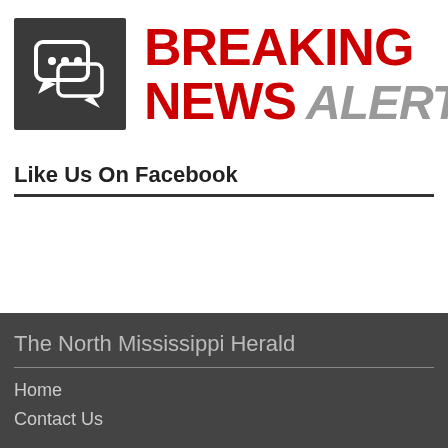[Figure (logo): Breaking News Alerts banner with chat bubble icon on dark background and red/gray text]
Like Us On Facebook
The North Mississippi Herald
Home
Contact Us